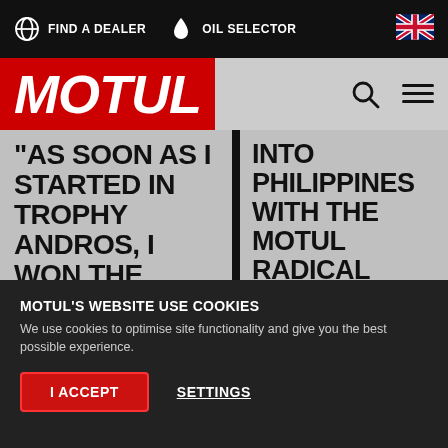FIND A DEALER | OIL SELECTOR
[Figure (logo): Motul logo in italic white bold text on red background]
"AS SOON AS I STARTED IN TROPHY ANDROS, I WON THE TOURING CAR CHAMPIONSHIP TWICE"
INTO PHILIPPINES WITH THE MOTUL RADICAL CHALLENGE
Philippine car fans can now experience what it feels like to strap yourself into a
MOTUL'S WEBSITE USE COOKIES
We use cookies to optimise site functionality and give you the best possible experience.
I ACCEPT
SETTINGS